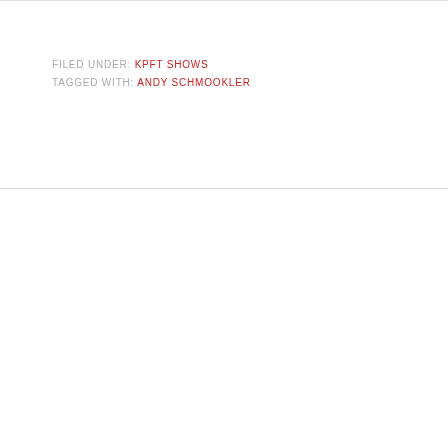FILED UNDER: KPFT SHOWS
TAGGED WITH: ANDY SCHMOOKLER